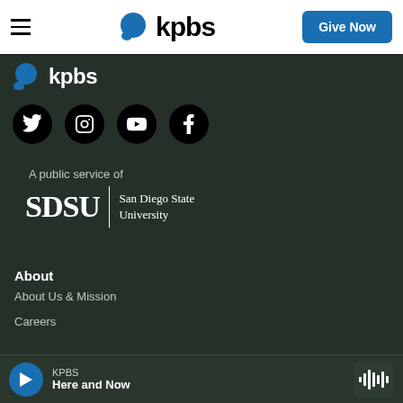KPBS | Give Now
[Figure (logo): KPBS logo with blue speech bubble icon and bold kpbs text in dark footer]
[Figure (infographic): Four social media icons in black circles: Twitter, Instagram, YouTube, Facebook]
A public service of
[Figure (logo): SDSU | San Diego State University logo in white text on dark background]
About
About Us & Mission
Careers
KPBS Here and Now